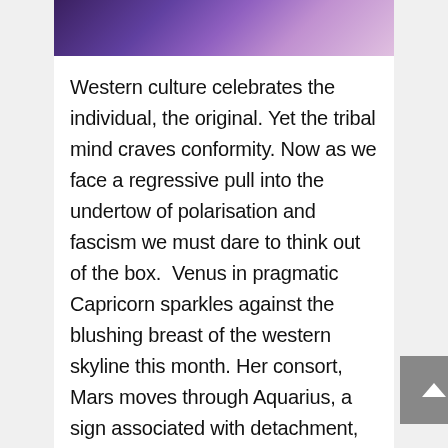[Figure (photo): Partial photo of a person visible at the top of the page, with purple/violet background colors]
Western culture celebrates the individual, the original. Yet the tribal mind craves conformity. Now as we face a regressive pull into the undertow of polarisation and fascism we must dare to think out of the box.  Venus in pragmatic Capricorn sparkles against the blushing breast of the western skyline this month. Her consort, Mars moves through Aquarius, a sign associated with detachment, logic, ideals and fairness. What these two planets symbolise are our inner values and our drive to be real in the most private, deeply personal places in our lives. Being real might mean leaving a relationship, a guru, or a work situation that tames or